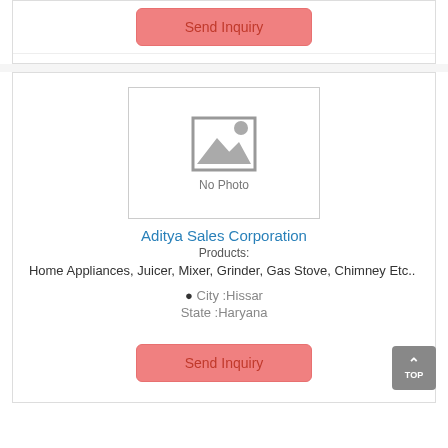Send Inquiry
[Figure (other): No Photo placeholder image with mountain/sun icon]
Aditya Sales Corporation
Products:
Home Appliances, Juicer, Mixer, Grinder, Gas Stove, Chimney Etc..&nbsp;
City :Hissar
State :Haryana
Send Inquiry